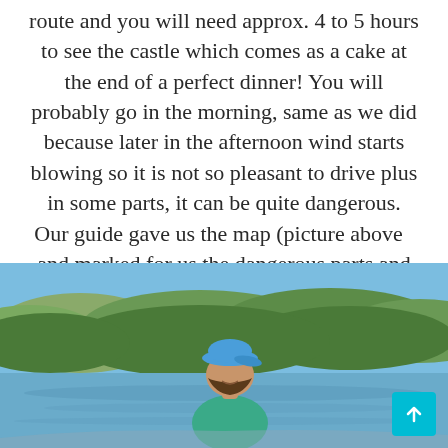route and you will need approx. 4 to 5 hours to see the castle which comes as a cake at the end of a perfect dinner! You will probably go in the morning, same as we did because later in the afternoon wind starts blowing so it is not so pleasant to drive plus in some parts, it can be quite dangerous. Our guide gave us the map (picture above   and marked for us the dangerous parts and areas that we should avoid or the ones we shall visit.
[Figure (photo): A woman wearing a blue cap smiling on a boat on a calm lake or river, with dense green trees and hills in the background under a clear blue sky.]